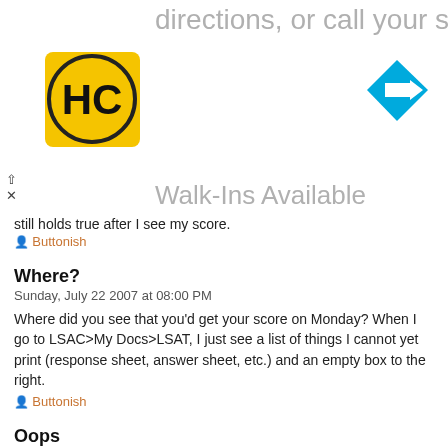[Figure (screenshot): Advertisement banner for HC (Hair Club?) salon with logo, navigation arrow icon, and text 'directions, or call your salon!' and 'Walk-Ins Available' in gray]
still holds true after I see my score.
Buttonish
Where?
Sunday, July 22 2007 at 08:00 PM
Where did you see that you'd get your score on Monday? When I go to LSAC>My Docs>LSAT, I just see a list of things I cannot yet print (response sheet, answer sheet, etc.) and an empty box to the right.
Buttonish
Oops
Sunday, July 22 2007 at 08:00 PM
The 'Account Status' tab makes all the difference! Blonde moment there. LSAC says I'll get my score on Monday too. I've read on unreliable (online forum) sources that scores are sometimes released earlier. I'll be checking LSAC feverishly this weekend.
Buttonish